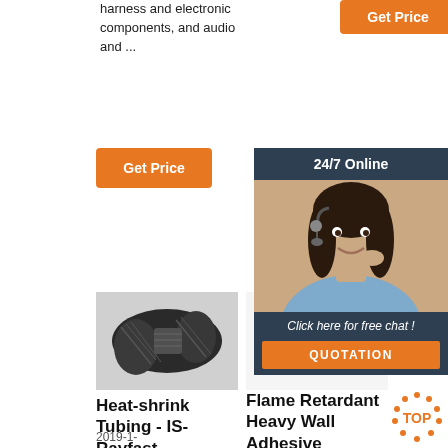harness and electronic components, and audio and ...
[Figure (other): Orange 'Get Price' button top center]
[Figure (other): Orange 'Get Price' button top right]
[Figure (other): Orange 'Get Price' button mid left]
[Figure (other): 24/7 Online chat widget with female customer service representative photo, 'Click here for free chat!' text, and QUOTATION button]
[Figure (photo): Heat-shrink tubing product photo - black woven tubing]
Heat-shrink Tubing - IS-Rayfast
2019-1-
[Figure (photo): Flame retardant heavy wall adhesive product photo - yellow, red and dark blue connectors]
Flame Retardant Heavy Wall Adhesive
[Figure (photo): RAYCHEM tubing product photo - red pin connectors]
RAYCHEM TUBING PRODUCTS - RS Components